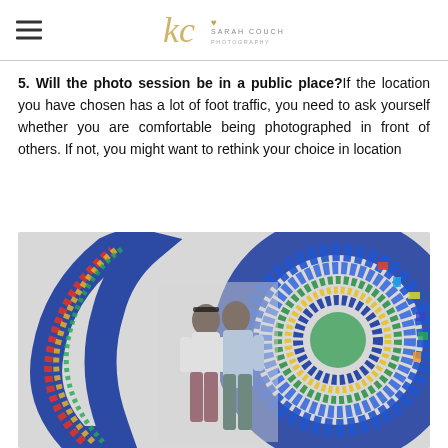Sarah Couch Photography logo with hamburger menu
5. Will the photo session be in a public place? If the location you have chosen has a lot of foot traffic, you need to ask yourself whether you are comfortable being photographed in front of others. If not, you might want to rethink your choice in location
[Figure (photo): A couple standing in front of a large colorful mosaic art sculpture shaped like a crescent/circle. The woman is in white top and dark pants with a headband; the man is in a light blue shirt. The mosaic is vibrant with blues, greens, yellows, and reds in a swirling pattern.]